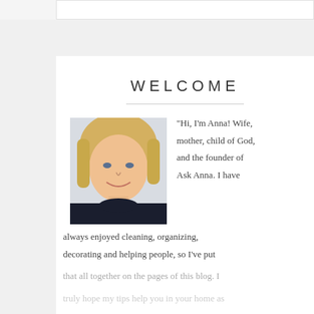WELCOME
[Figure (photo): Headshot of a smiling blonde woman named Anna, wearing a dark top, photographed against a light background.]
"Hi, I'm Anna! Wife, mother, child of God, and the founder of Ask Anna. I have always enjoyed cleaning, organizing, decorating and helping people, so I've put that all together on the pages of this blog. I truly hope my tips help you in your home as
truly hope my tips help you in your home as